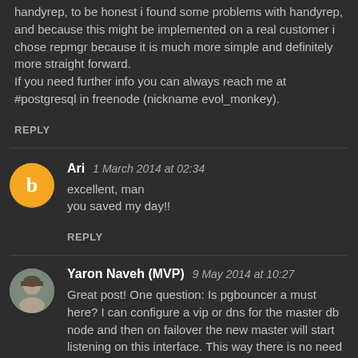handyrep, to be honest i found some problems with handyrep, and because this might be implemented on a real customer i chose repmgr because it is much more simple and definitely more straight forward.
If you need further info you can always reach me at #postgresql in freenode (nickname evol_monkey).
REPLY
Ari   1 March 2014 at 02:34
excellent, man
you saved my day!!
REPLY
Yaron Naveh (MVP)   9 May 2014 at 10:27
Great post! One question: Is pgbouncer a must here? I can configure a vip or dns for the master db node and then on failover the new master will start listening on this interface. This way there is no need to update the application config files - they always go to the vip.